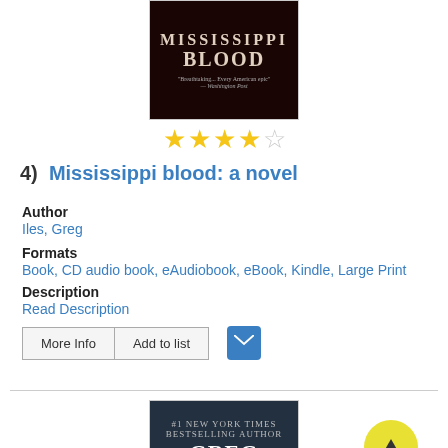[Figure (illustration): Book cover of Mississippi Blood novel, dark red/black background with title text]
[Figure (illustration): 4 out of 5 star rating shown with yellow stars]
4)  Mississippi blood: a novel
Author
Iles, Greg
Formats
Book, CD audio book, eAudiobook, eBook, Kindle, Large Print
Description
Read Description
[Figure (illustration): Book cover of Greg Iles novel, dark forest background with author name Greg Iles in large white text]
[Figure (illustration): Yellow circular scroll-up button with upward arrow]